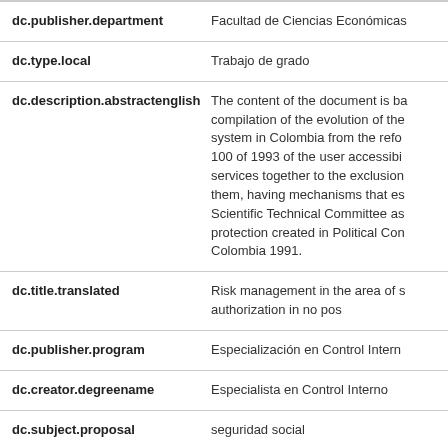| Field | Value |
| --- | --- |
| dc.publisher.department | Facultad de Ciencias Económicas |
| dc.type.local | Trabajo de grado |
| dc.description.abstractenglish | The content of the document is based on a compilation of the evolution of the health system in Colombia from the reform law 100 of 1993 of the user accessibility of services together to the exclusion of them, having mechanisms that establish the Scientific Technical Committee as a protection created in Political Constitution of Colombia 1991. |
| dc.title.translated | Risk management in the area of services authorization in no pos |
| dc.publisher.program | Especialización en Control Interno |
| dc.creator.degreename | Especialista en Control Interno |
| dc.subject.proposal | seguridad social |